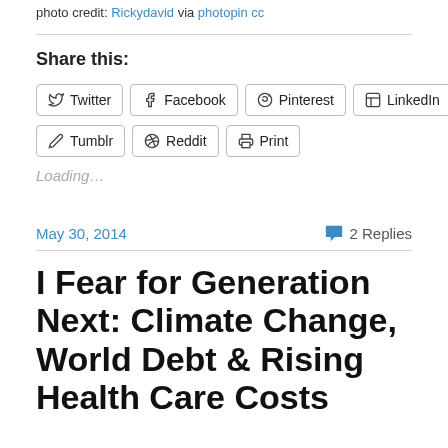photo credit: Rickydavid via photopin cc
Share this:
Twitter | Facebook | Pinterest | LinkedIn | Email | Tumblr | Reddit | Print
Loading...
May 30, 2014
2 Replies
I Fear for Generation Next: Climate Change, World Debt & Rising Health Care Costs